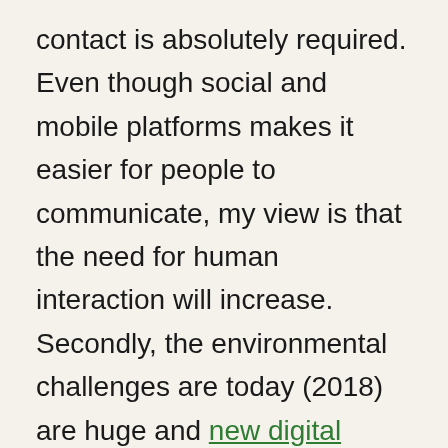contact is absolutely required. Even though social and mobile platforms makes it easier for people to communicate, my view is that the need for human interaction will increase. Secondly, the environmental challenges are today (2018) are huge and new digital technology along with human labor is needed to clean up the earth. Addressing the new ecological challenges will require new eco-friendly infrastructure and societies. In Sweden, the government just approved high